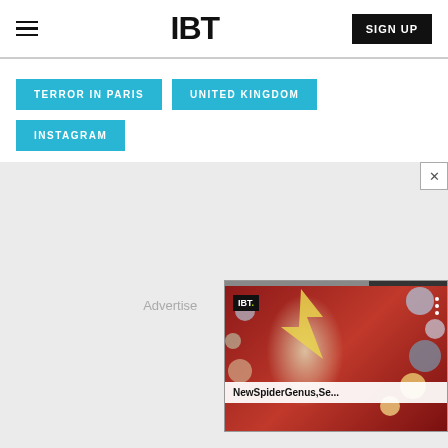IBT
TERROR IN PARIS
UNITED KINGDOM
INSTAGRAM
[Figure (screenshot): Advertisement area with IBT video widget showing David Bowie illustration with text 'NewSpiderGenus,Se...' and IBT logo, plus a close button]
Advertise